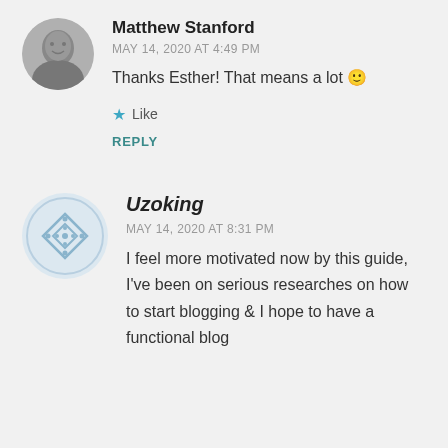Matthew Stanford
MAY 14, 2020 AT 4:49 PM
Thanks Esther! That means a lot 🙂
Like
REPLY
Uzoking
MAY 14, 2020 AT 8:31 PM
I feel more motivated now by this guide, I've been on serious researches on how to start blogging & I hope to have a functional blog